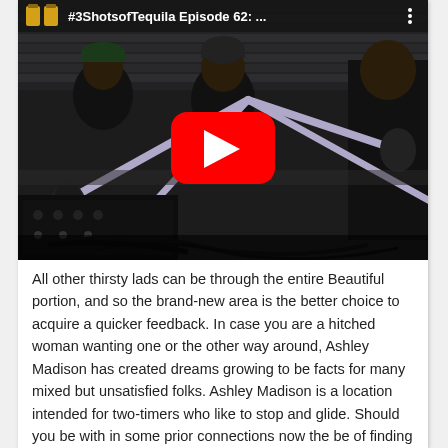[Figure (screenshot): YouTube video thumbnail showing podcast recording session with three people at microphones, titled '#3ShotsofTequila Episode 62:...' with YouTube play button overlay]
All other thirsty lads can be through the entire Beautiful portion, and so the brand-new area is the better choice to acquire a quicker feedback. In case you are a hitched woman wanting one or the other way around, Ashley Madison has created dreams growing to be facts for many mixed but unsatisfied folks. Ashley Madison is a location intended for two-timers who like to stop and glide. Should you be with in some prior connections now the be of finding